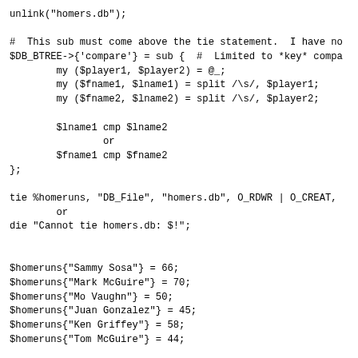unlink("homers.db");

#  This sub must come above the tie statement.  I have no
$DB_BTREE->{'compare'} = sub {  #  Limited to *key* compa
        my ($player1, $player2) = @_;
        my ($fname1, $lname1) = split /\s/, $player1;
        my ($fname2, $lname2) = split /\s/, $player2;

        $lname1 cmp $lname2
                or
        $fname1 cmp $fname2
};

tie %homeruns, "DB_File", "homers.db", O_RDWR | O_CREAT,
        or
die "Cannot tie homers.db: $!";


$homeruns{"Sammy Sosa"} = 66;
$homeruns{"Mark McGuire"} = 70;
$homeruns{"Mo Vaughn"} = 50;
$homeruns{"Juan Gonzalez"} = 45;
$homeruns{"Ken Griffey"} = 58;
$homeruns{"Tom McGuire"} = 44;


$, = ",";
print keys %homeruns;
print "\n";
print values %homeruns;